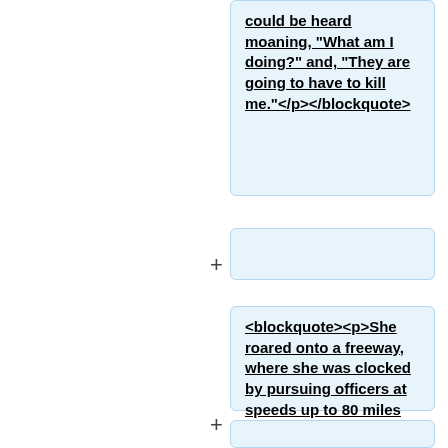<blockquote><p>could be heard moaning, "What am I doing?" and, "They are going to have to kill me."</p></blockquote>
<blockquote><p>She roared onto a freeway, where she was clocked by pursuing officers at speeds up to 80 miles per hour. She crashed into a concrete barrier, and officers, thinking they had her boxed in, jumped out of their vehicles. But Ms. Ondersma backed up, then lurched forward and plowed into one of the police cars.</p></blockquote>